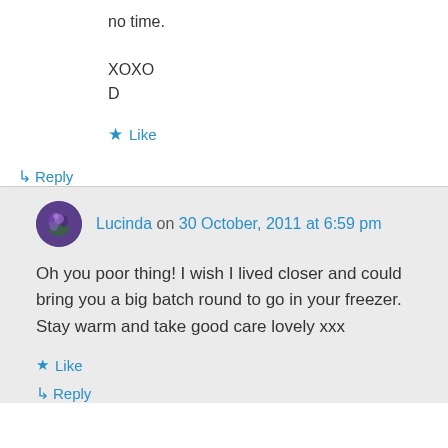no time.

XOXO
D
★ Like
↳ Reply
Lucinda on 30 October, 2011 at 6:59 pm
Oh you poor thing! I wish I lived closer and could bring you a big batch round to go in your freezer. Stay warm and take good care lovely xxx
★ Like
↳ Reply